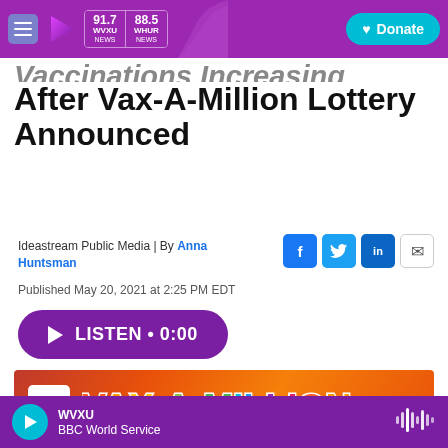WVXU 91.7 WVXU NEWS | 88.5 WHUR NEWS | Donate
Vaccinations Increasing After Vax-A-Million Lottery Announced
Ideastream Public Media | By Anna Huntsman
Published May 20, 2021 at 2:25 PM EDT
[Figure (other): Listen button with play icon, text: LISTEN • 0:00]
[Figure (illustration): Ohio Vax-A-Million lottery promotional banner with orange background and colorful logo text]
WVXU — BBC World Service